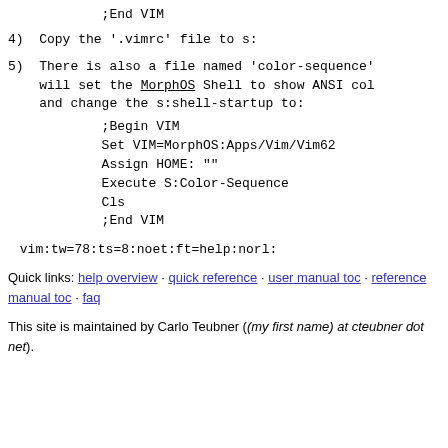;End VIM
4)  Copy the '.vimrc' file to s:
5)  There is also a file named 'color-sequence' will set the MorphOS Shell to show ANSI col and change the s:shell-startup to:
;Begin VIM
Set VIM=MorphOS:Apps/Vim/Vim62
Assign HOME: ""
Execute S:Color-Sequence
Cls
;End VIM
vim:tw=78:ts=8:noet:ft=help:norl:
Quick links: help overview · quick reference · user manual toc · reference manual toc · faq
This site is maintained by Carlo Teubner ((my first name) at cteubner dot net).